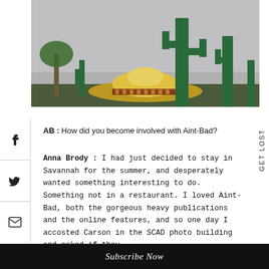[Figure (photo): Outdoor scene with tall saguaro cactus statues and a large sombrero-shaped structure in the background, overcast sky, palm trees visible]
AB : How did you become involved with Aint-Bad?
Anna Brody : I had just decided to stay in Savannah for the summer, and desperately wanted something interesting to do. Something not in a restaurant. I loved Aint-Bad, both the gorgeous heavy publications and the online features, and so one day I accosted Carson in the SCAD photo building and asked if they
Subscribe Now